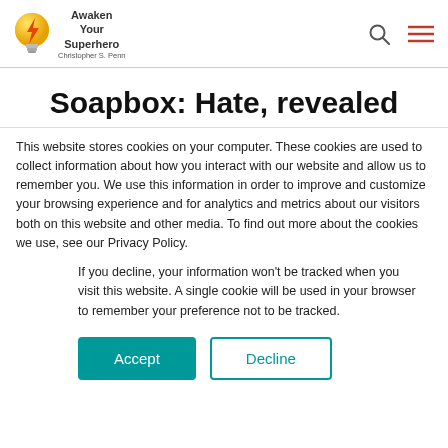Awaken Your Superhero — Christopher S. Penn
Soapbox: Hate, revealed
This website stores cookies on your computer. These cookies are used to collect information about how you interact with our website and allow us to remember you. We use this information in order to improve and customize your browsing experience and for analytics and metrics about our visitors both on this website and other media. To find out more about the cookies we use, see our Privacy Policy.
If you decline, your information won't be tracked when you visit this website. A single cookie will be used in your browser to remember your preference not to be tracked.